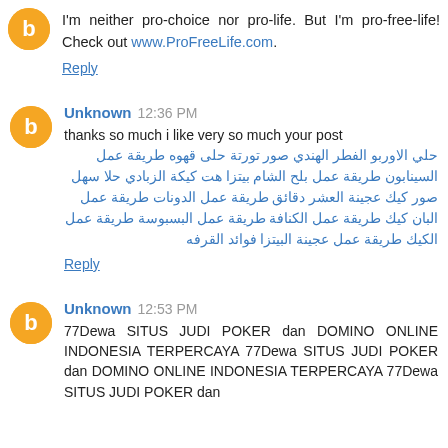I'm neither pro-choice nor pro-life. But I'm pro-free-life! Check out www.ProFreeLife.com.
Reply
Unknown 12:36 PM
thanks so much i like very so much your post
حلى قهوه طريقة عمل تورتة صور حلى الهندي الفطر الاوربو حلي السينابون طريقة عمل بلح الشام بيتزا هت كيكة الزبادي حلا سهل صور كيك عجينة العشر دقائق طريقة عمل الدونات طريقة عمل البان كيك طريقة عمل الكنافة طريقة عمل البسبوسة طريقة عمل الكيك طريقة عمل عجينة البيتزا فوائد القرفه
Reply
Unknown 12:53 PM
77Dewa SITUS JUDI POKER dan DOMINO ONLINE INDONESIA TERPERCAYA 77Dewa SITUS JUDI POKER dan DOMINO ONLINE INDONESIA TERPERCAYA 77Dewa SITUS JUDI POKER dan